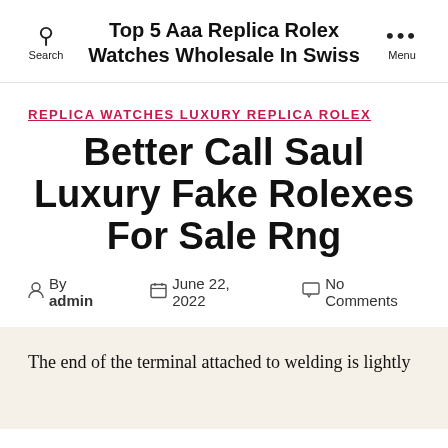Top 5 Aaa Replica Rolex Watches Wholesale In Swiss
REPLICA WATCHES LUXURY REPLICA ROLEX
Better Call Saul Luxury Fake Rolexes For Sale Rng
By admin  June 22, 2022  No Comments
The end of the terminal attached to welding is lightly